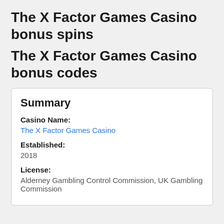The X Factor Games Casino bonus spins
The X Factor Games Casino bonus codes
Summary
Casino Name:
The X Factor Games Casino
Established:
2018
License:
Alderney Gambling Control Commission, UK Gambling Commission